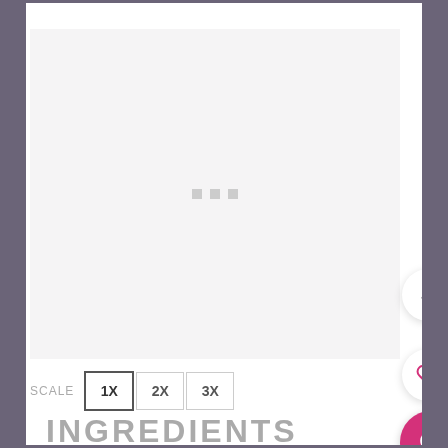[Figure (screenshot): App screenshot showing a recipe page UI with a loading image area (three grey dots visible), a SCALE selector with 1X (active), 2X, 3X buttons, a scroll-up button, a heart/like button with count 36, a pink search button, and an INGREDIENTS section header at the bottom.]
INGREDIENTS